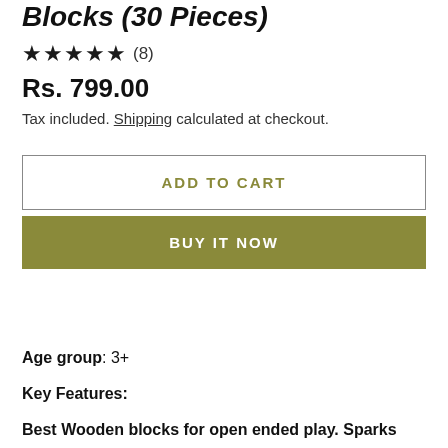Blocks (30 Pieces)
★★★★★ (8)
Rs. 799.00
Tax included. Shipping calculated at checkout.
ADD TO CART
BUY IT NOW
Age group: 3+
Key Features:
Best Wooden blocks for open ended play. Sparks